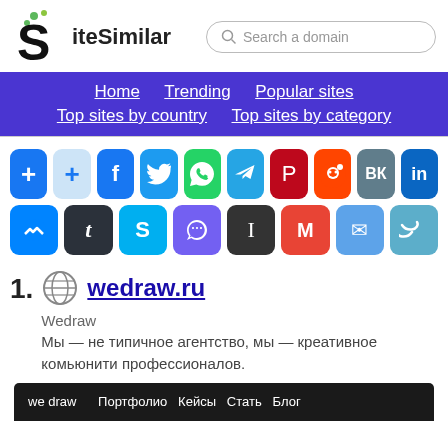[Figure (logo): SiteSimilar logo with stylized S and green dots]
Search a domain
Home   Trending   Popular sites   Top sites by country   Top sites by category
[Figure (infographic): Social sharing buttons: add, add (light), Facebook, Twitter, WhatsApp, Telegram, Pinterest, Reddit, VK, LinkedIn, Messenger, Tumblr, Skype, Viber, Instapaper, Gmail, Email, Copy link]
1. wedraw.ru
Wedraw
Мы — не типичное агентство, мы — креативное комьюнити профессионалов.
[Figure (screenshot): Screenshot of wedraw.ru website showing 'we draw' branding and navigation]